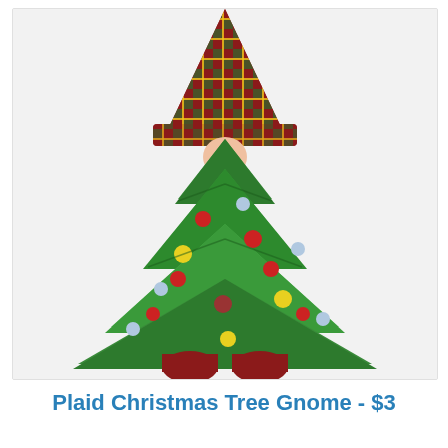[Figure (illustration): A Christmas gnome illustrated as a decorated Christmas tree. The gnome wears a red and green plaid hat, has a round peach-colored nose, and its body is shaped like a large green Christmas tree decorated with red, yellow, and light blue ornaments. The gnome has two red feet/boots visible at the bottom.]
Plaid Christmas Tree Gnome - $3